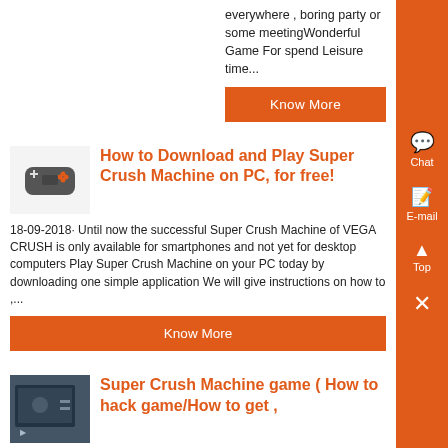everywhere , boring party or some meetingWonderful Game For spend Leisure time...
Know More
How to Download and Play Super Crush Machine on PC, for free!
18-09-2018· Until now the successful Super Crush Machine of VEGA CRUSH is only available for smartphones and not yet for desktop computers Play Super Crush Machine on your PC today by downloading one simple application We will give instructions on how to ,...
Know More
Super Crush Machine game ( How to hack game/How to get ,
Crush Machine game...
Know More
Super Crush KO is a Vibrant Combo-